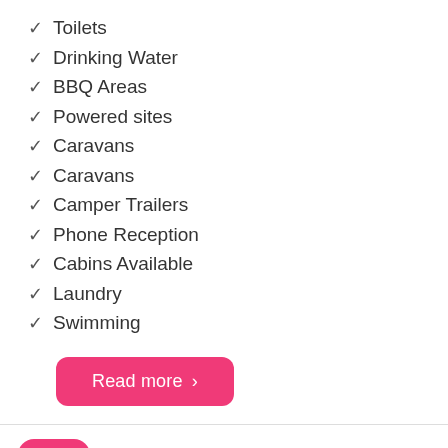✓ Toilets
✓ Drinking Water
✓ BBQ Areas
✓ Powered sites
✓ Caravans
✓ Caravans
✓ Camper Trailers
✓ Phone Reception
✓ Cabins Available
✓ Laundry
✓ Swimming
Read more ›
[Figure (logo): Aircamp Australia app icon — pink rounded square with white triangle tent logo]
Aircamp Australia
Find campsites Australia-wide, easy & free.
INSTALL